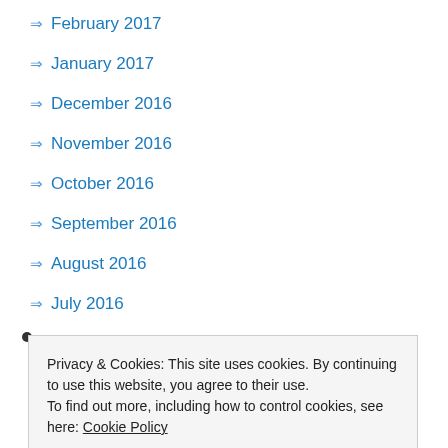February 2017
January 2017
December 2016
November 2016
October 2016
September 2016
August 2016
July 2016
Privacy & Cookies: This site uses cookies. By continuing to use this website, you agree to their use. To find out more, including how to control cookies, see here: Cookie Policy
February 2016